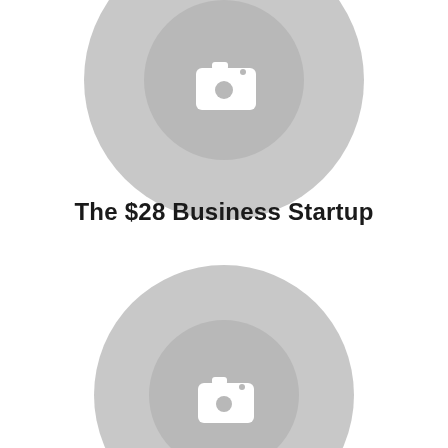[Figure (illustration): Placeholder image circle with camera icon, top half visible, large grey circle with darker inner circle and white camera icon]
The $28 Business Startup
[Figure (illustration): Placeholder image circle with camera icon, large grey circle with darker inner circle and white camera icon]